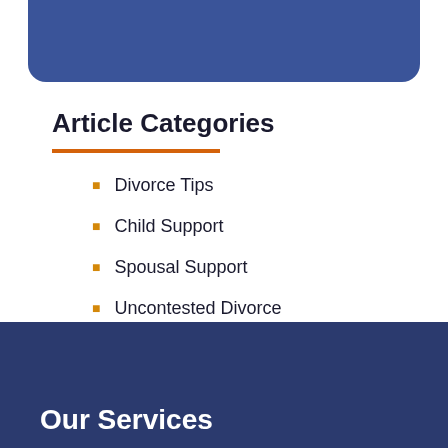[Figure (other): Blue rounded banner at top of page]
Article Categories
Divorce Tips
Child Support
Spousal Support
Uncontested Divorce
[Figure (other): Dark navy blue footer banner]
Our Services